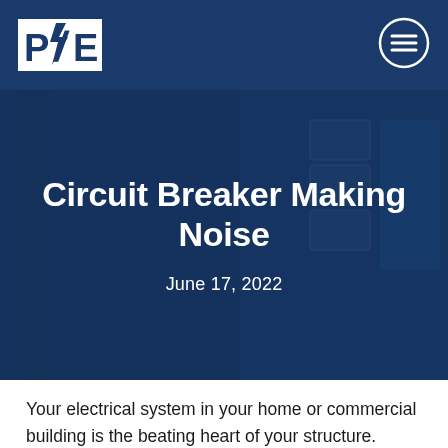P/E (logo) — navigation bar
[Figure (photo): Blurred photo of electrical circuit breaker panel as hero background image, overlaid with dark blue tint]
Circuit Breaker Making Noise
June 17, 2022
Your electrical system in your home or commercial building is the beating heart of your structure. Without it, everything cannot function. That's why you should